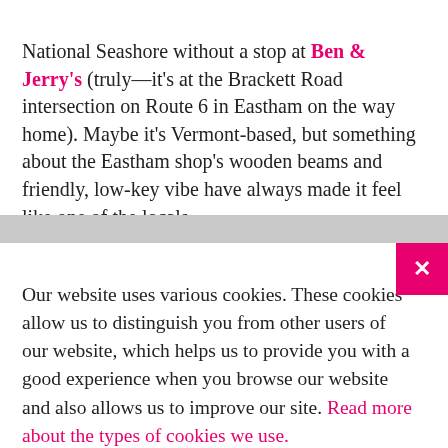National Seashore without a stop at Ben & Jerry's (truly—it's at the Brackett Road intersection on Route 6 in Eastham on the way home). Maybe it's Vermont-based, but something about the Eastham shop's wooden beams and friendly, low-key vibe have always made it feel like one of the locals.
Our website uses various cookies. These cookies allow us to distinguish you from other users of our website, which helps us to provide you with a good experience when you browse our website and also allows us to improve our site. Read more about the types of cookies we use.